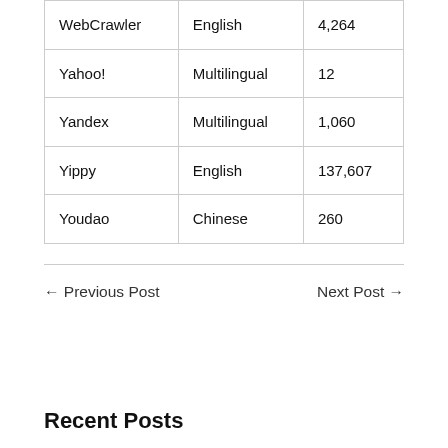| WebCrawler | English | 4,264 |
| Yahoo! | Multilingual | 12 |
| Yandex | Multilingual | 1,060 |
| Yippy | English | 137,607 |
| Youdao | Chinese | 260 |
← Previous Post    Next Post →
Recent Posts